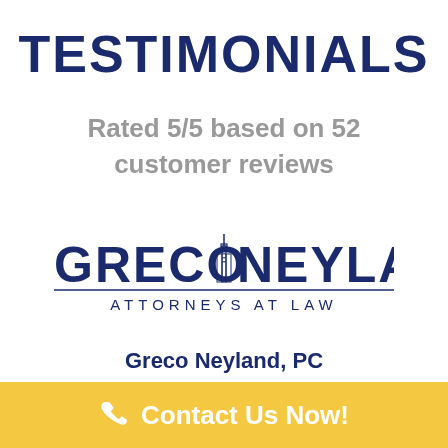TESTIMONIALS
Rated 5/5 based on 52 customer reviews
[Figure (logo): Greco Neyland Attorneys at Law logo with building/skyscraper icon between the two words, with a horizontal line separating firm name from tagline]
Greco Neyland, PC
[Figure (other): Five gold star rating icons]
Contact Us Now!